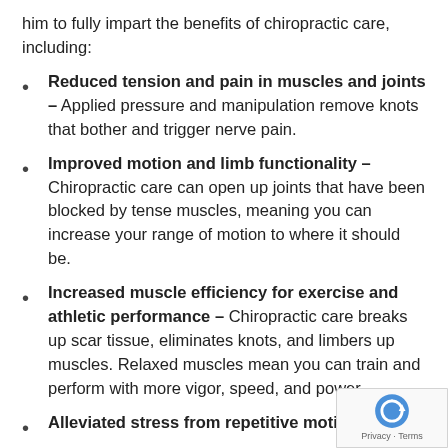him to fully impart the benefits of chiropractic care, including:
Reduced tension and pain in muscles and joints – Applied pressure and manipulation remove knots that bother and trigger nerve pain.
Improved motion and limb functionality – Chiropractic care can open up joints that have been blocked by tense muscles, meaning you can increase your range of motion to where it should be.
Increased muscle efficiency for exercise and athletic performance – Chiropractic care breaks up scar tissue, eliminates knots, and limbers up muscles. Relaxed muscles mean you can train and perform with more vigor, speed, and power.
Alleviated stress from repetitive motion,